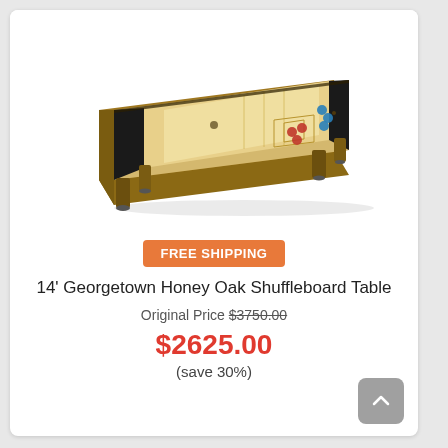[Figure (photo): A 14-foot Georgetown Honey Oak Shuffleboard Table shown in perspective view, with a light oak playing surface, dark border, and brown wooden frame with adjustable feet.]
FREE SHIPPING
14' Georgetown Honey Oak Shuffleboard Table
Original Price $3750.00
$2625.00
(save 30%)